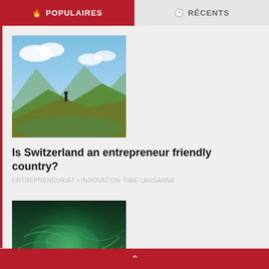POPULAIRES
RÉCENTS
[Figure (photo): Person standing on a mountain top with green valleys and blue cloudy sky below]
Is Switzerland an entrepreneur friendly country?
ENTREPRENEURIAT • INNOVATION TIME LAUSANNE
[Figure (photo): Close-up of green textured organic material, possibly moss or algae, with dark background]
Le biomimétisme : s'inspirer du vivant pour développer les technologies de demain
INNOVATION TIME LAUSANNE • SCIENCES & TECHNOLOGIES